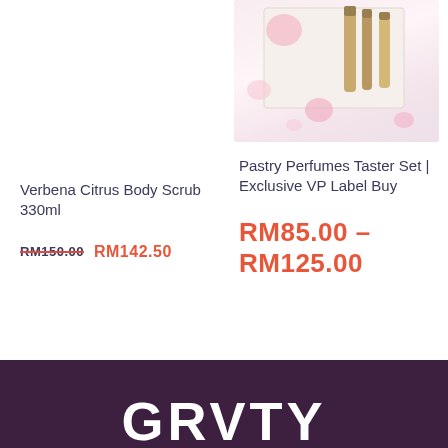[Figure (photo): Product photo of perfume taster set in a white box with gold perfume bottles and pink rose petals scattered around]
Verbena Citrus Body Scrub 330ml
RM150.00  RM142.50
Pastry Perfumes Taster Set | Exclusive VP Label Buy
RM85.00 – RM125.00
GRVTY